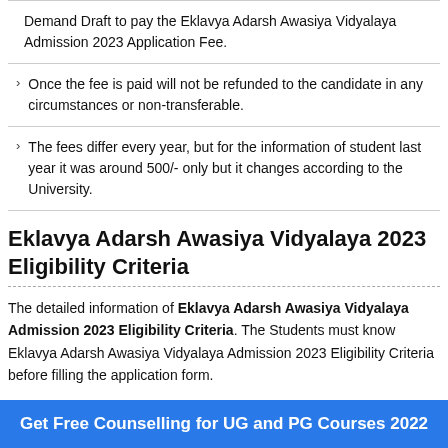Demand Draft to pay the Eklavya Adarsh Awasiya Vidyalaya Admission 2023 Application Fee.
Once the fee is paid will not be refunded to the candidate in any circumstances or non-transferable.
The fees differ every year, but for the information of student last year it was around 500/- only but it changes according to the University.
Eklavya Adarsh Awasiya Vidyalaya 2023 Eligibility Criteria
The detailed information of Eklavya Adarsh Awasiya Vidyalaya Admission 2023 Eligibility Criteria. The Students must know Eklavya Adarsh Awasiya Vidyalaya Admission 2023 Eligibility Criteria before filling the application form.
If students will not complete Eklavya Adarsh Awasiya Vidyalaya
Get Free Counselling for UG and PG Courses 2022